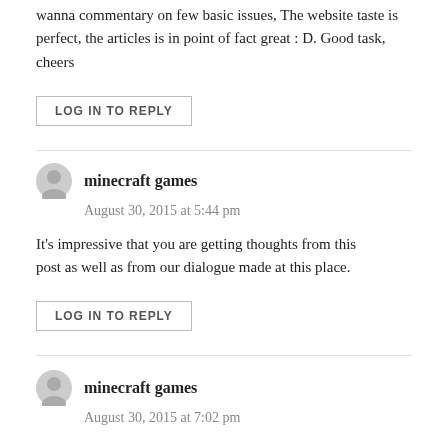wanna commentary on few basic issues, The website taste is perfect, the articles is in point of fact great : D. Good task, cheers
LOG IN TO REPLY
minecraft games
August 30, 2015 at 5:44 pm
It's impressive that you are getting thoughts from this post as well as from our dialogue made at this place.
LOG IN TO REPLY
minecraft games
August 30, 2015 at 7:02 pm